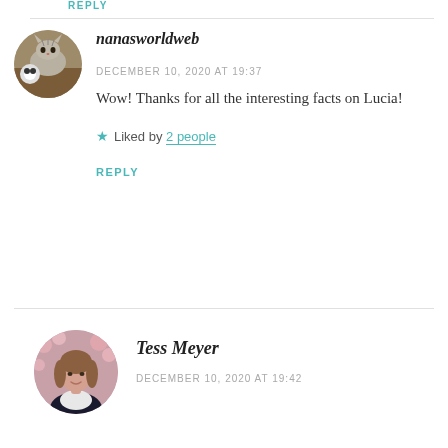REPLY
nanasworldweb
DECEMBER 10, 2020 AT 19:37
Wow! Thanks for all the interesting facts on Lucia!
★ Liked by 2 people
REPLY
Tess Meyer
DECEMBER 10, 2020 AT 19:42